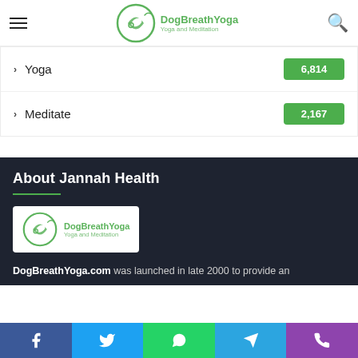DogBreathYoga - Yoga and Meditation
Yoga 6,814
Meditate 2,167
About Jannah Health
[Figure (logo): DogBreathYoga logo with leaf icon, text DogBreathYoga and Yoga and Meditation]
DogBreathYoga.com was launched in late 2000 to provide an
Facebook Twitter WhatsApp Telegram Phone social share buttons